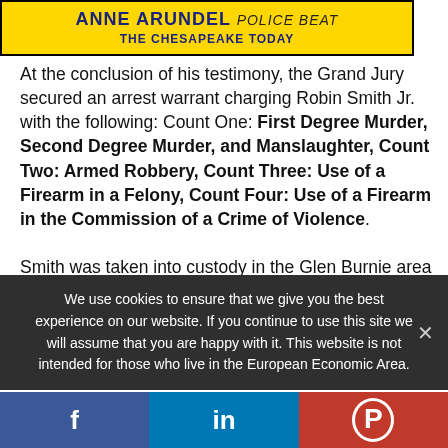[Figure (logo): Anne Arundel Police Beat / The Chesapeake Today yellow banner logo]
At the conclusion of his testimony, the Grand Jury secured an arrest warrant charging Robin Smith Jr. with the following: Count One: First Degree Murder, Second Degree Murder, and Manslaughter, Count Two: Armed Robbery, Count Three: Use of a Firearm in a Felony, Count Four: Use of a Firearm in the Commission of a Crime of Violence.
Smith was taken into custody in the Glen Burnie area
We use cookies to ensure that we give you the best experience on our website. If you continue to use this site we will assume that you are happy with it. This website is not intended for those who live in the European Economic Area.
f  in  P (social share bar)